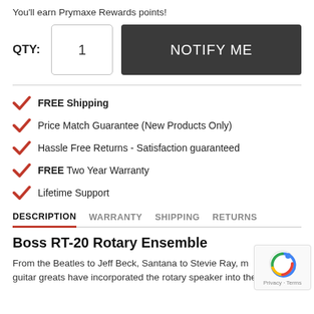You'll earn Prymaxe Rewards points!
QTY: 1  NOTIFY ME
FREE Shipping
Price Match Guarantee (New Products Only)
Hassle Free Returns - Satisfaction guaranteed
FREE Two Year Warranty
Lifetime Support
DESCRIPTION  WARRANTY  SHIPPING  RETURNS
Boss RT-20 Rotary Ensemble
From the Beatles to Jeff Beck, Santana to Stevie Ray, m guitar greats have incorporated the rotary speaker into their